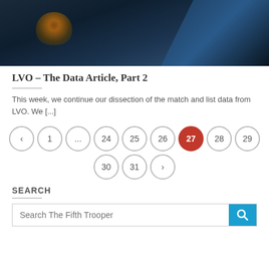[Figure (photo): Dark sci-fi themed hero image with blue tones and orange light source]
LVO – The Data Article, Part 2
This week, we continue our dissection of the match and list data from LVO.  We [...]
Pagination: < 1 ... 24 25 26 27 28 29 30 31 >
SEARCH
Search The Fifth Trooper